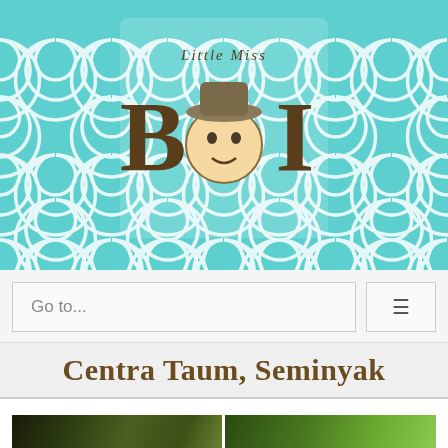[Figure (logo): Little Miss Bali logo with swirl pattern teal background, brown text and a cartoon face replacing the 'a' in Bali]
Go to...
Centra Taum, Seminyak
[Figure (photo): Partial photo strip showing lush green tropical foliage/garden scene, split into two panels]